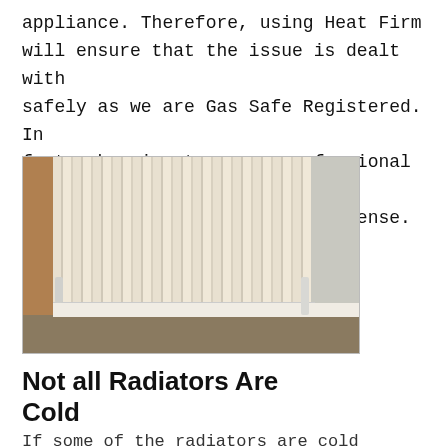appliance. Therefore, using Heat Firm will ensure that the issue is dealt with safely as we are Gas Safe Registered. In fact, choosing to use a professional will remove any stress and added expense.
[Figure (photo): Close-up photograph of a white panel radiator installed against a grey wall, with brown/tan floor visible below and skirting boards. Pipe valves visible at bottom corners.]
Not all Radiators Are Cold
If some of the radiators are cold